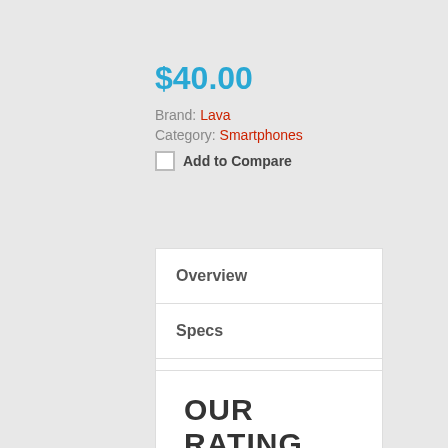$40.00
Brand: Lava
Category: Smartphones
Add to Compare
Overview
Specs
Reviews
OUR RATING
The overall rating is based on review by our experts
[Figure (infographic): Rating circle showing '04' in dark grey circle with an orange progress bar to the right]